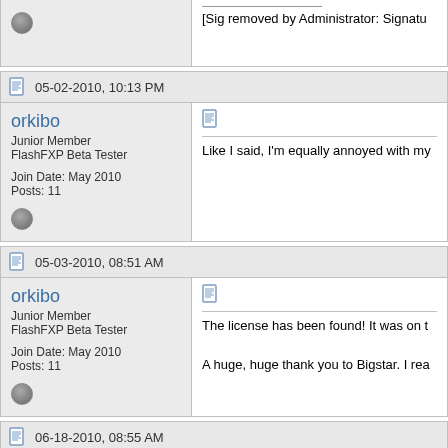[Sig removed by Administrator: Signatu
05-02-2010, 10:13 PM
orkibo
Junior Member
FlashFXP Beta Tester
Join Date: May 2010
Posts: 11
Like I said, I'm equally annoyed with my
05-03-2010, 08:51 AM
orkibo
Junior Member
FlashFXP Beta Tester
Join Date: May 2010
Posts: 11
The license has been found! It was on t

A huge, huge thank you to Bigstar. I rea
06-18-2010, 08:55 AM
supornix